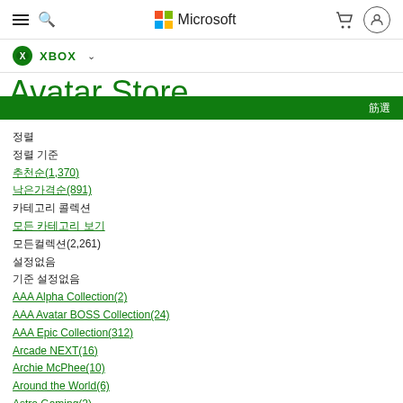Microsoft Xbox Avatar Store navigation header
Avatar Store
정렬
정렬 기준
추천순(1,370)
낮은가격순(891)
카테고리 콜렉션
모든 카테고리 보기
모든컬렉션(2,261)
설정없음
기준 설정없음
AAA Alpha Collection(2)
AAA Avatar BOSS Collection(24)
AAA Epic Collection(312)
Arcade NEXT(16)
Archie McPhee(10)
Around the World(6)
Astro Gaming(2)
Attack on Titan(22)
Atticus Collection(24)